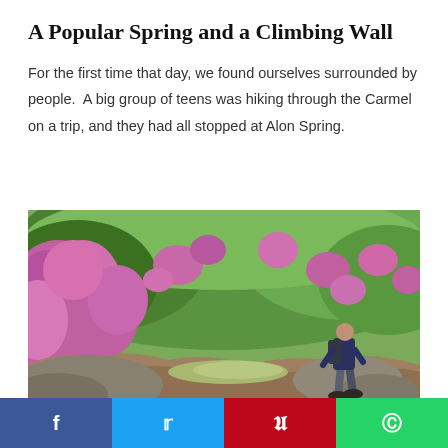A Popular Spring and a Climbing Wall
For the first time that day, we found ourselves surrounded by people.  A big group of teens was hiking through the Carmel on a trip, and they had all stopped at Alon Spring.
[Figure (photo): A hiker with a backpack walking over rocks surrounded by lush green vegetation and pink wildflowers, with a small stream or spring visible in the background.]
f  t  p  ©